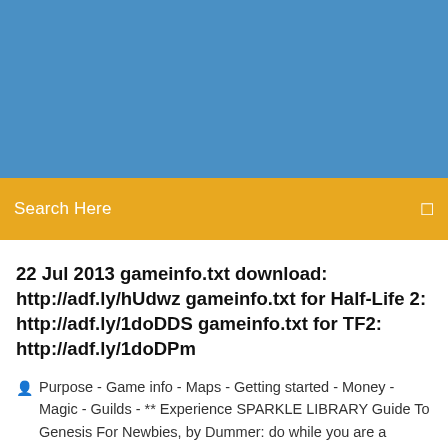[Figure (other): Blue header banner background]
Search Here
22 Jul 2013 gameinfo.txt download: http://adf.ly/hUdwz gameinfo.txt for Half-Life 2: http://adf.ly/1doDDS gameinfo.txt for TF2: http://adf.ly/1doDPm
Purpose - Game info - Maps - Getting started - Money - Magic - Guilds - ** Experience SPARKLE LIBRARY Guide To Genesis For Newbies, by Dummer: do while you are a newbie so don't forget to visit this area when you still are a beginner. There is a huge sign